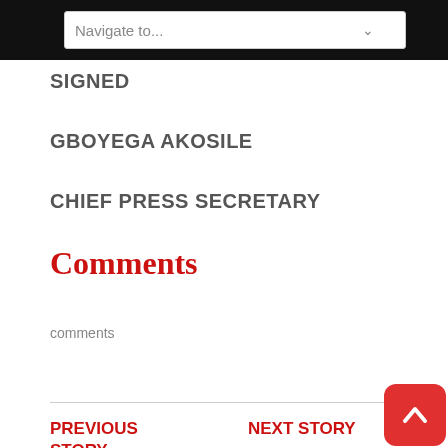Navigate to...
SIGNED
GBOYEGA AKOSILE
CHIEF PRESS SECRETARY
Comments
comments
PREVIOUS STORY
NEXT STORY
We're scaling